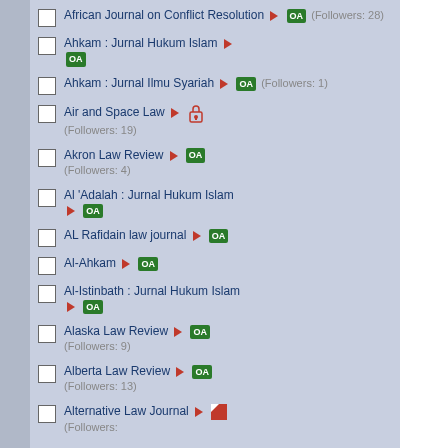African Journal on Conflict Resolution ▶ OA (Followers: 28)
Ahkam : Jurnal Hukum Islam ▶ OA
Ahkam : Jurnal Ilmu Syariah ▶ OA (Followers: 1)
Air and Space Law ▶ 🔒 (Followers: 19)
Akron Law Review ▶ OA (Followers: 4)
Al 'Adalah : Jurnal Hukum Islam ▶ OA
AL Rafidain law journal ▶ OA
Al-Ahkam ▶ OA
Al-Istinbath : Jurnal Hukum Islam ▶ OA
Alaska Law Review ▶ OA (Followers: 9)
Alberta Law Review ▶ OA (Followers: 13)
Alternative Law Journal ▶ (partial) (Followers: 9)